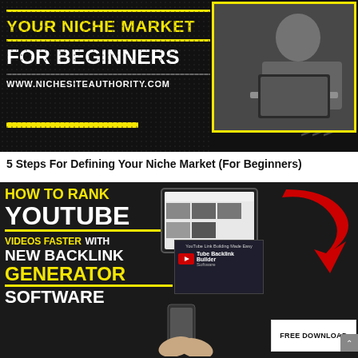[Figure (screenshot): Top banner: dark background with yellow text 'YOUR NICHE MARKET', white text 'FOR BEGINNERS', URL 'WWW.NICHESITEAUTHORITY.COM', yellow accent bar, and black-and-white photo of a person at laptop with yellow border. Chevron pattern bottom right.]
5 Steps For Defining Your Niche Market (For Beginners)
[Figure (screenshot): Bottom banner: dark background with yellow text 'HOW TO RANK', white text 'YOUTUBE', yellow text 'VIDEOS FASTER' + white 'WITH', white 'NEW BACKLINK', yellow 'GENERATOR', white 'SOFTWARE'. Right side shows monitor with Tube Backlink Builder software, large red arrow, hands with phone, and FREE DOWNLOAD box.]